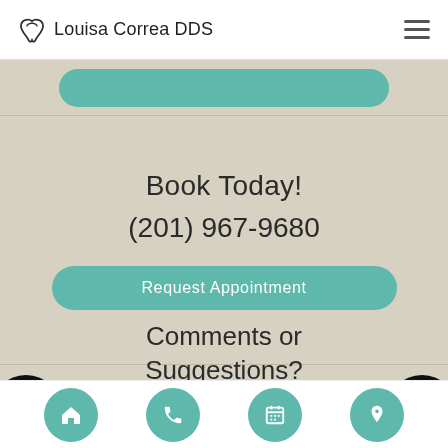Louisa Correa DDS
Book Today!
(201) 967-9680
Request Appointment
Comments or Suggestions?